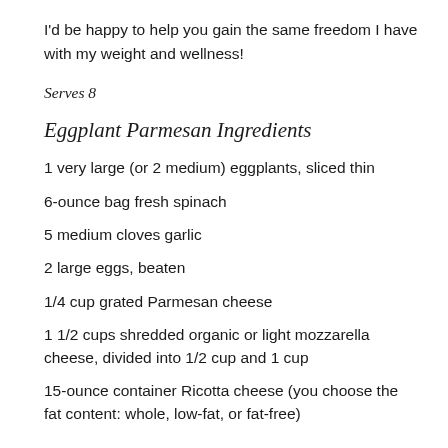I'd be happy to help you gain the same freedom I have with my weight and wellness!
Serves 8
Eggplant Parmesan Ingredients
1 very large (or 2 medium) eggplants, sliced thin
6-ounce bag fresh spinach
5 medium cloves garlic
2 large eggs, beaten
1/4 cup grated Parmesan cheese
1 1/2 cups shredded organic or light mozzarella cheese, divided into 1/2 cup and 1 cup
15-ounce container Ricotta cheese (you choose the fat content: whole, low-fat, or fat-free)